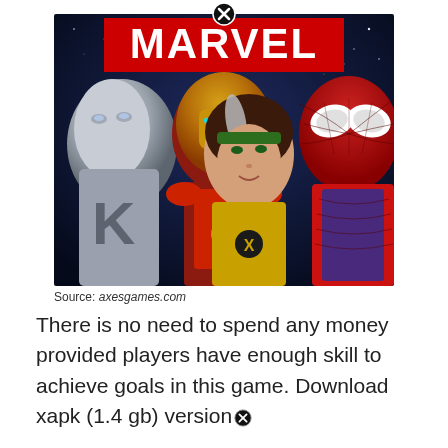[Figure (illustration): Marvel Contest of Champions game promotional image showing Silver Surfer, Iron Man, Rogue, and Spider-Man characters on a dark space background with the red MARVEL logo at the top. A close/X button appears at the top center of the image.]
Source: axesgames.com
There is no need to spend any money provided players have enough skill to achieve goals in this game. Download xapk (1.4 gb) version